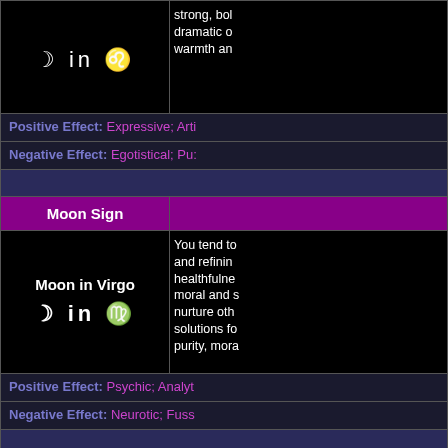| Moon Sign | Description |
| --- | --- |
| Moon in Virgo ☽ in ♍ | You tend to...and refining...healthfulness...moral and s...nurture oth...solutions fo...purity, mora... |
| Positive Effect: | Psychic; Analyt... |
| Negative Effect: | Neurotic; Fuss... |
| Moon in Libra ☽ in ♎ | You need a...feel at peac...your emotio...have a flare...meaningfuln...seeing the... |